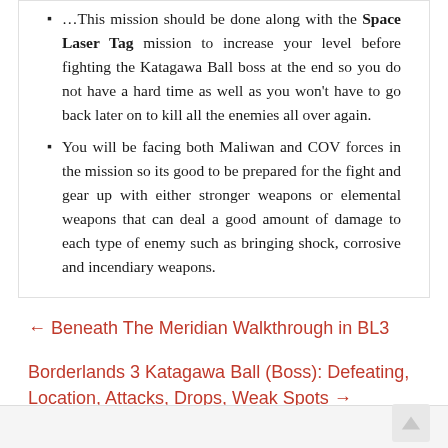This mission should be done along with the Space Laser Tag mission to increase your level before fighting the Katagawa Ball boss at the end so you do not have a hard time as well as you won't have to go back later on to kill all the enemies all over again.
You will be facing both Maliwan and COV forces in the mission so its good to be prepared for the fight and gear up with either stronger weapons or elemental weapons that can deal a good amount of damage to each type of enemy such as bringing shock, corrosive and incendiary weapons.
← Beneath The Meridian Walkthrough in BL3
Borderlands 3 Katagawa Ball (Boss): Defeating, Location, Attacks, Drops, Weak Spots →